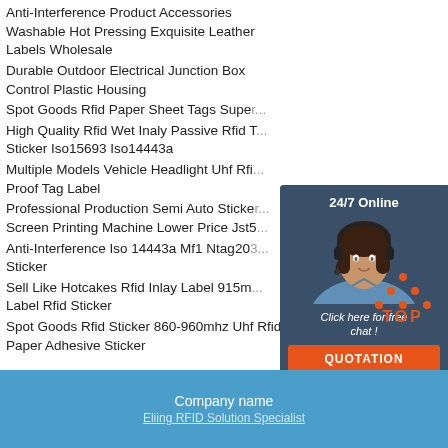Anti-Interference Product Accessories Washable Hot Pressing Exquisite Leather Labels Wholesale
Durable Outdoor Electrical Junction Box Control Plastic Housing
Spot Goods Rfid Paper Sheet Tags Super...
High Quality Rfid Wet Inaly Passive Rfid T... Sticker Iso15693 Iso14443a
Multiple Models Vehicle Headlight Uhf Rfi... Proof Tag Label
Professional Production Semi Auto Sticke... Screen Printing Machine Lower Price Jst5...
Anti-Interference Iso 14443a Mf1 Ntag20... Sticker
Sell Like Hotcakes Rfid Inlay Label 915m... Label Rfid Sticker
Spot Goods Rfid Sticker 860-960mhz Uhf Rfid Paper Adhesive Sticker
[Figure (photo): Customer service representative (woman with headset) in dark blue chat widget with '24/7 Online' badge, 'Click here for free chat!' text, and orange QUOTATION button]
[Figure (other): Red/orange 'TOP' text with triangle dot pattern above it, scroll-to-top button]
Company name
Eliing RFID Solution Specialist